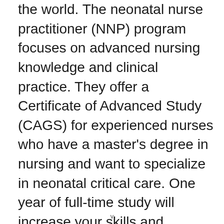the world. The neonatal nurse practitioner (NNP) program focuses on advanced nursing knowledge and clinical practice. They offer a Certificate of Advanced Study (CAGS) for experienced nurses who have a master's degree in nursing and want to specialize in neonatal critical care. One year of full-time study will increase your skills and experience and enable you to sit for the neonatal nurse practitioner certification exam offered by the National Certification Corporation for the obstetric, gynecologic, and neonatal nursing
v